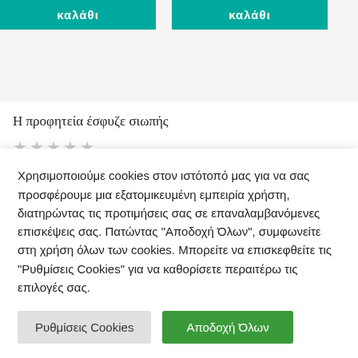καλάθι
καλάθι
Η προφητεία έσφυζε σιωπής
★★★★★
8,00€
Χρησιμοποιούμε cookies στον ιστότοπό μας για να σας προσφέρουμε μια εξατομικευμένη εμπειρία χρήστη, διατηρώντας τις προτιμήσεις σας σε επαναλαμβανόμενες επισκέψεις σας. Πατώντας "Αποδοχή Όλων", συμφωνείτε στη χρήση όλων των cookies. Μπορείτε να επισκεφθείτε τις "Ρυθμίσεις Cookies" για να καθορίσετε περαιτέρω τις επιλογές σας.
Ρυθμίσεις Cookies
Αποδοχή Όλων